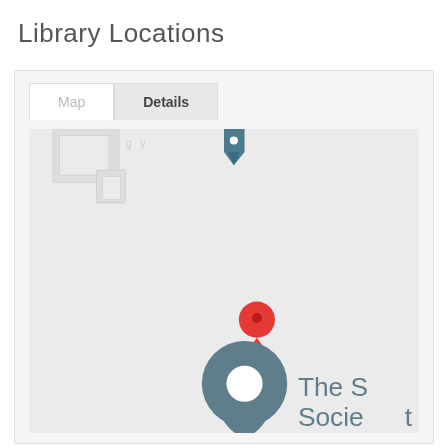Library Locations
[Figure (map): Google Maps view showing a library location with a red map pin marker and a large grey location pin labelled 'The S... Socie...' partially visible at the bottom. Map/satellite tabs visible: Map and Details.]